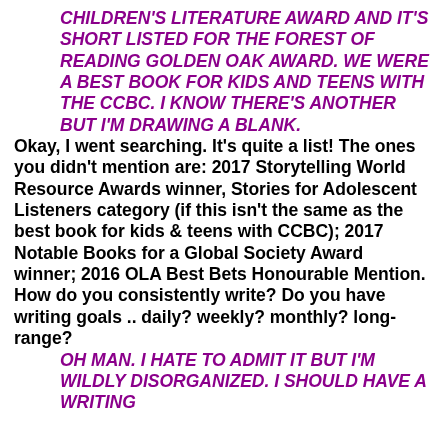CHILDREN'S LITERATURE AWARD AND IT'S SHORT LISTED FOR THE FOREST OF READING GOLDEN OAK AWARD. WE WERE A BEST BOOK FOR KIDS AND TEENS WITH THE CCBC. I KNOW THERE'S ANOTHER BUT I'M DRAWING A BLANK.
Okay, I went searching. It's quite a list! The ones you didn't mention are: 2017 Storytelling World Resource Awards winner, Stories for Adolescent Listeners category (if this isn't the same as the best book for kids & teens with CCBC); 2017 Notable Books for a Global Society Award winner; 2016 OLA Best Bets Honourable Mention.
How do you consistently write? Do you have writing goals .. daily? weekly? monthly? long-range?
OH MAN. I HATE TO ADMIT IT BUT I'M WILDLY DISORGANIZED. I SHOULD HAVE A WRITING